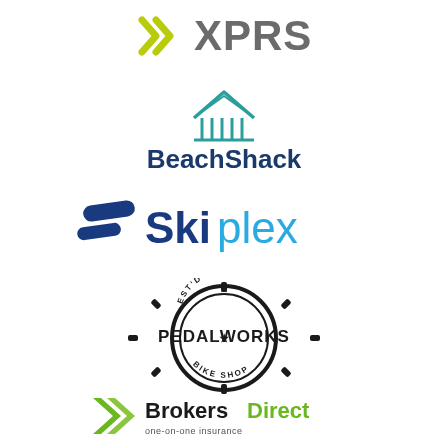[Figure (logo): XPRS logo with yellow-green speech bubble / check mark icon and gray bold text XPRS]
[Figure (logo): BeachShack logo with teal house/columns icon above navy bold text BeachShack]
[Figure (logo): Skiplex logo with dark blue ski slope shape icon and bold dark-blue Ski plus light-blue plex text]
[Figure (logo): Pedalworks Bike Shop circular gear/sprocket badge logo in dark/black with star accents]
[Figure (logo): Brokers Direct logo with green double-chevron arrows and bold text BrokersDirect with tagline one-on-one insurance]